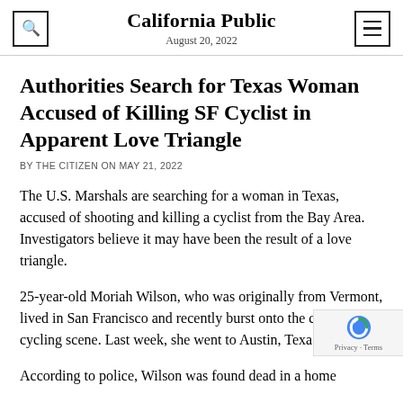California Public
August 20, 2022
Authorities Search for Texas Woman Accused of Killing SF Cyclist in Apparent Love Triangle
BY THE CITIZEN ON MAY 21, 2022
The U.S. Marshals are searching for a woman in Texas, accused of shooting and killing a cyclist from the Bay Area. Investigators believe it may have been the result of a love triangle.
25-year-old Moriah Wilson, who was originally from Vermont, lived in San Francisco and recently burst onto the competitive cycling scene. Last week, she went to Austin, Texas for a race.
According to police, Wilson was found dead in a home